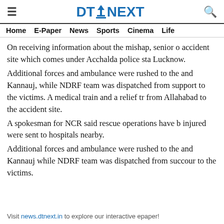≡  DTNEXT  🔍
Home  E-Paper  News  Sports  Cinema  Life
On receiving information about the mishap, senior o accident site which comes under Acchalda police sta Lucknow.
Additional forces and ambulance were rushed to the and Kannauj, while NDRF team was dispatched from support to the victims. A medical train and a relief tr from Allahabad to the accident site.
A spokesman for NCR said rescue operations have b injured were sent to hospitals nearby.
Additional forces and ambulance were rushed to the and Kannauj while NDRF team was dispatched from succour to the victims.
Visit news.dtnext.in to explore our interactive epaper!